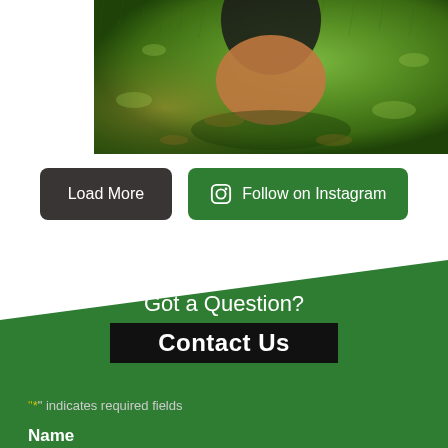[Figure (photo): Close-up photo of hands on green grass, partial view cropped at top]
Load More
Follow on Instagram
Got a Question?
Contact Us
"*" indicates required fields
Name